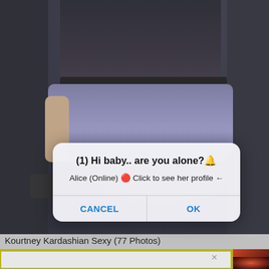[Figure (photo): Background photograph of a woman wearing dark crop top with studded belt and blue-gray feathered skirt, partially obscured by dialog overlay]
(1) Hi baby.. are you alone?🔔
Alice (Online) 🔴 Click to see her profile ←
CANCEL
OK
Kourtney Kardashian Sexy (77 Photos)
[Figure (screenshot): Advertisement box with yellow-green border showing 'Ads that respect your privacy', 'Earn bitcoins or advertise your business', 'a-ads.com']
Ads that respect your privacy
Earn bitcoins or advertise your business
a-ads.com